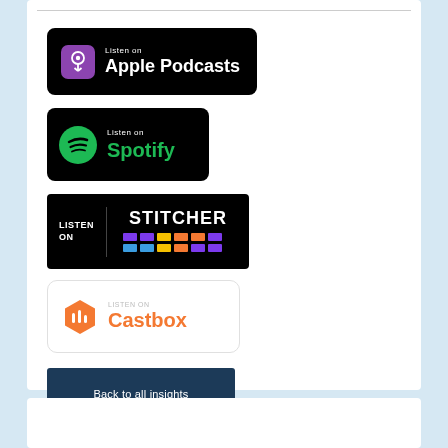[Figure (logo): Listen on Apple Podcasts badge - black rounded rectangle with Apple Podcasts icon and white text]
[Figure (logo): Listen on Spotify badge - black rounded rectangle with green Spotify logo and text]
[Figure (logo): Listen on Stitcher badge - black rectangle with LISTEN ON text and STITCHER name with colorful bars]
[Figure (logo): Listen on Castbox badge - white rounded rectangle with orange Castbox hexagon logo]
Back to all insights
Important Information